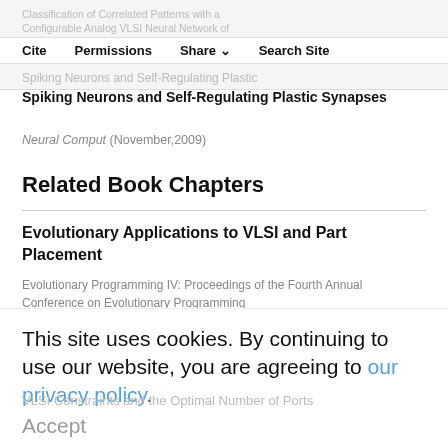Classification of Correlated Patterns with a Configurable Analog VLSI Neural Network of Spiking Neurons and Self-Regulating Plastic Synapses
Cite  Permissions  Share  Search Site
Spiking Neurons and Self-Regulating Plastic Synapses
Neural Comput (November,2009)
Related Book Chapters
Evolutionary Applications to VLSI and Part Placement
Evolutionary Programming IV: Proceedings of the Fourth Annual Conference on Evolutionary Programming
Preprocessing for Pulsed Neural VLSI Systems
VLSI Constraints and the Optimal Number of Ports
This site uses cookies. By continuing to use our website, you are agreeing to our privacy policy.
Accept